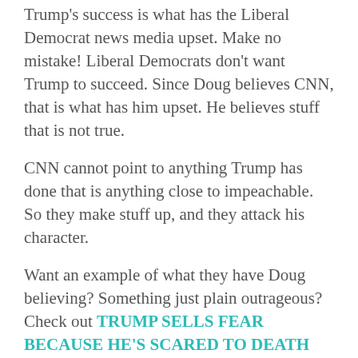Trump's success is what has the Liberal Democrat news media upset. Make no mistake! Liberal Democrats don't want Trump to succeed. Since Doug believes CNN, that is what has him upset. He believes stuff that is not true.
CNN cannot point to anything Trump has done that is anything close to impeachable. So they make stuff up, and they attack his character.
Want an example of what they have Doug believing? Something just plain outrageous? Check out TRUMP SELLS FEAR BECAUSE HE'S SCARED TO DEATH HIMSELF.
RATE THIS: ☆☆☆☆☆ ℹ Rate This
SHARE THIS:
Print
LinkedIn
Pinterest
Tumblr